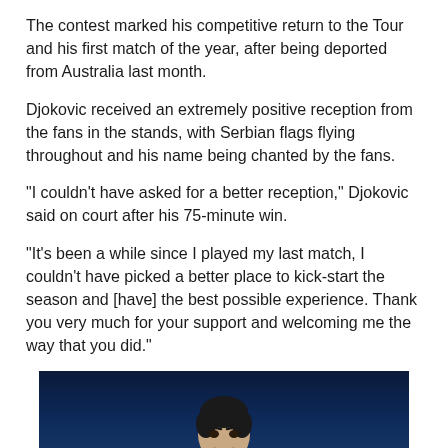The contest marked his competitive return to the Tour and his first match of the year, after being deported from Australia last month.
Djokovic received an extremely positive reception from the fans in the stands, with Serbian flags flying throughout and his name being chanted by the fans.
"I couldn't have asked for a better reception," Djokovic said on court after his 75-minute win.
"It's been a while since I played my last match, I couldn't have picked a better place to kick-start the season and [have] the best possible experience. Thank you very much for your support and welcoming me the way that you did."
[Figure (photo): Novak Djokovic in white tennis attire holding a racket, photographed against a dark blue background during a match.]